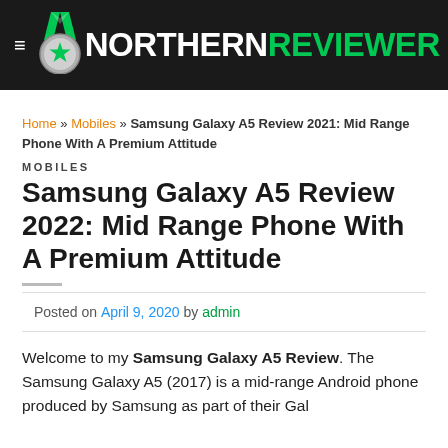NORTHERN REVIEWER
Home » Mobiles » Samsung Galaxy A5 Review 2021: Mid Range Phone With A Premium Attitude
MOBILES
Samsung Galaxy A5 Review 2022: Mid Range Phone With A Premium Attitude
Posted on April 9, 2020 by admin
Welcome to my Samsung Galaxy A5 Review. The Samsung Galaxy A5 (2017) is a mid-range Android phone produced by Samsung as part of their Gal...